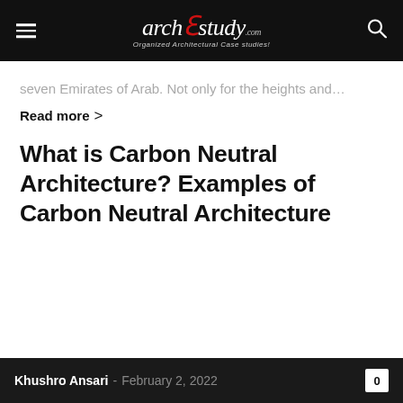www.archEstudy.com — Organized Architectural Case studies!
seven Emirates of Arab. Not only for the heights and…
Read more >
What is Carbon Neutral Architecture? Examples of Carbon Neutral Architecture
Khushro Ansari - February 2, 2022  0